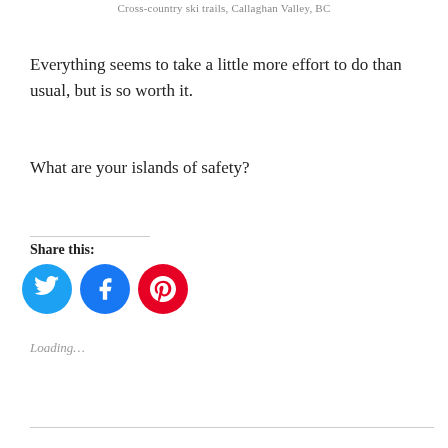Cross-country ski trails, Callaghan Valley, BC
Everything seems to take a little more effort to do than usual, but is so worth it.
What are your islands of safety?
Share this:
[Figure (illustration): Social sharing buttons: Twitter (blue circle), Facebook (blue circle), Pinterest (red circle)]
Loading...